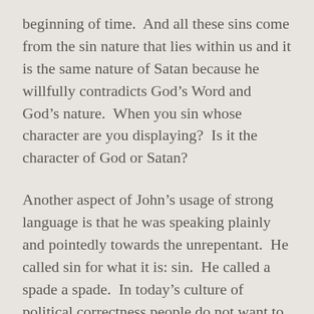beginning of time.  And all these sins come from the sin nature that lies within us and it is the same nature of Satan because he willfully contradicts God's Word and God's nature.  When you sin whose character are you displaying?  Is it the character of God or Satan?
Another aspect of John's usage of strong language is that he was speaking plainly and pointedly towards the unrepentant.  He called sin for what it is: sin.  He called a spade a spade.  In today's culture of political correctness people do not want to hear